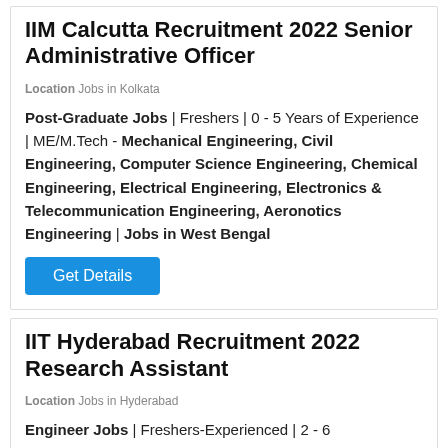IIM Calcutta Recruitment 2022 Senior Administrative Officer
Location Jobs in Kolkata
Post-Graduate Jobs | Freshers | 0 - 5 Years of Experience | ME/M.Tech - Mechanical Engineering, Civil Engineering, Computer Science Engineering, Chemical Engineering, Electrical Engineering, Electronics & Telecommunication Engineering, Aeronotics Engineering | Jobs in West Bengal
Get Details
IIT Hyderabad Recruitment 2022 Research Assistant
Location Jobs in Hyderabad
Engineer Jobs | Freshers-Experienced | 2 - 6